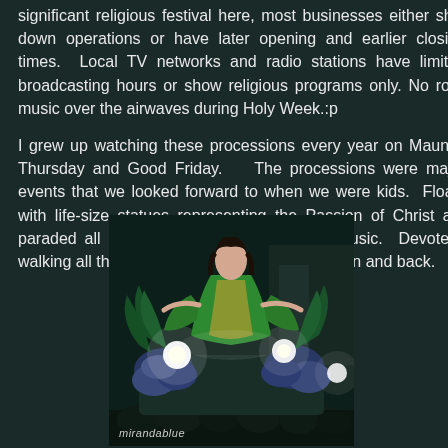significant religious festival here, most businesses either shut down operations or have later opening and earlier closing times.  Local TV networks and radio stations have limited broadcasting hours or show religious programs only. No rock music over the airwaves during Holy Week.:p
I grew up watching these processions every year on Maundy Thursday and Good Friday.   The processions were major events that we looked forward to when we were kids.  Floats with life-size statues representing the Passion of Christ are paraded all over town with accompanying music.  Devotees walking all the way from the church, across town and back.
[Figure (photo): A nighttime religious procession float featuring a life-size statue of a female religious figure dressed in a green robe with arms outstretched, surrounded by colorful flowers and bright lights, with a crowd of devotees below. Watermark reads 'mirandablue'.]